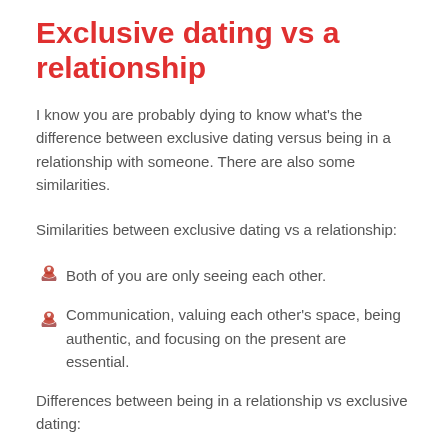Exclusive dating vs a relationship
I know you are probably dying to know what's the difference between exclusive dating versus being in a relationship with someone. There are also some similarities.
Similarities between exclusive dating vs a relationship:
Both of you are only seeing each other.
Communication, valuing each other's space, being authentic, and focusing on the present are essential.
Differences between being in a relationship vs exclusive dating: